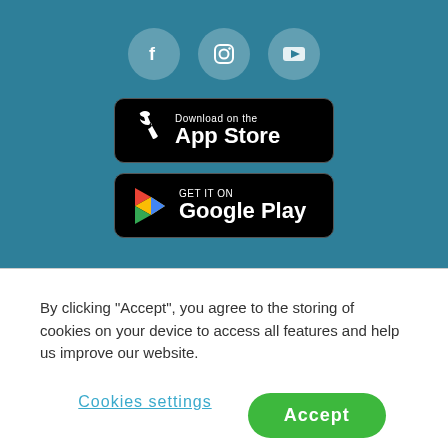[Figure (other): Social media icons: Facebook, Instagram, YouTube on teal background]
[Figure (other): Download on the App Store button (black rounded rectangle with Apple logo)]
[Figure (other): Get it on Google Play button (black rounded rectangle with colorful play triangle logo)]
By clicking “Accept”, you agree to the storing of cookies on your device to access all features and help us improve our website.
Cookies settings
Accept